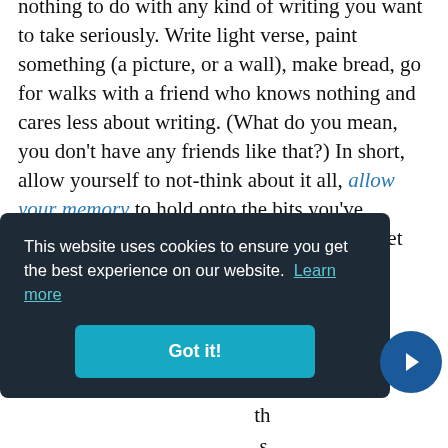nothing to do with any kind of writing you want to take seriously. Write light verse, paint something (a picture, or a wall), make bread, go for walks with a friend who knows nothing and cares less about writing. (What do you mean, you don't have any friends like that?) In short, allow yourself to not-think about it all, allow your memory to hold onto the bits you've collected which make sense, allow it to forget the bits which don't.
And it may well be true that whatever needs ...
[Figure (screenshot): Cookie consent banner with dark background reading 'This website uses cookies to ensure you get the best experience on our website. Learn more' with a 'Got it!' teal button, and a blue circular arrow/next button on the right.]